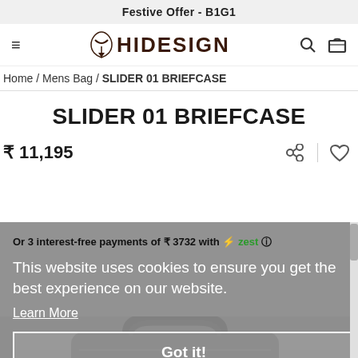Festive Offer - B1G1
[Figure (logo): Hidesign logo with stylized antler/leaf icon and bold HIDESIGN text]
Home / Mens Bag / SLIDER 01 BRIEFCASE
SLIDER 01 BRIEFCASE
₹ 11,195
Or 3 interest-free payments of ₹ 3732 with zest ⓘ
This website uses cookies to ensure you get the best experience on our website.
Learn More
Got it!
[Figure (photo): Dark leather briefcase bag with handles and zipper detail, shown from above]